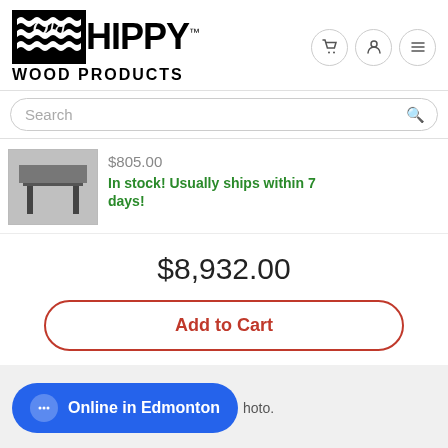[Figure (logo): Old Hippy Wood Products logo with wave pattern in black box and italic cursive 'Old' text, bold HIPPY text, and WOOD PRODUCTS below]
$805.00
In stock! Usually ships within 7 days!
$8,932.00
Add to Cart
Online in Edmonton
hoto.